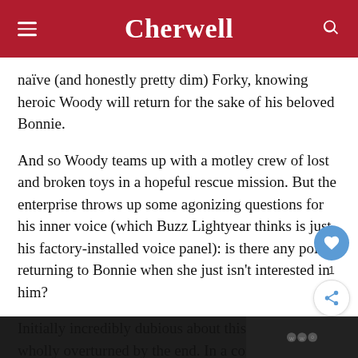Cherwell
naïve (and honestly pretty dim) Forky, knowing heroic Woody will return for the sake of his beloved Bonnie.
And so Woody teams up with a motley crew of lost and broken toys in a hopeful rescue mission. But the enterprise throws up some agonizing questions for his inner voice (which Buzz Lightyear thinks is just his factory-installed voice panel): is there any point returning to Bonnie when she just isn't interested in him?
Initially incredibly dubious about this film, I was wholly overturned by the end. In a conversation about it with my Dad, I realised I'd entirely missed the point of the franchise without about the movies, without the toys. I re…